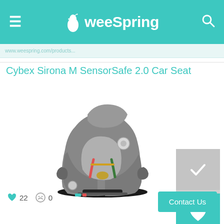weeSpring
Cybex Sirona M SensorSafe 2.0 Car Seat
[Figure (photo): Cybex Sirona M SensorSafe 2.0 convertible car seat in grey, shown at an angle on a white background]
22 likes, 0 dislikes
Contact Us